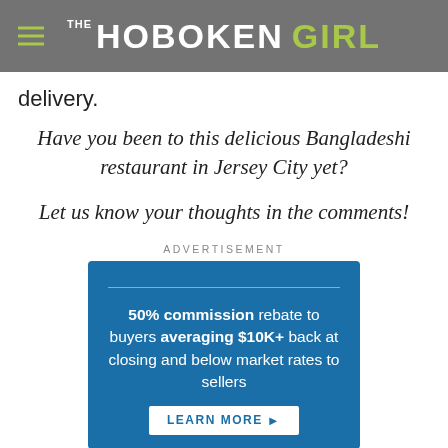THE HOBOKEN GIRL
delivery.
Have you been to this delicious Bangladeshi restaurant in Jersey City yet?
Let us know your thoughts in the comments!
ADVERTISEMENT
[Figure (infographic): Advertisement box with blue background. Text: '50% commission rebate to buyers averaging $10K+ back at closing and below market rates to sellers'. Button: 'LEARN MORE'.]